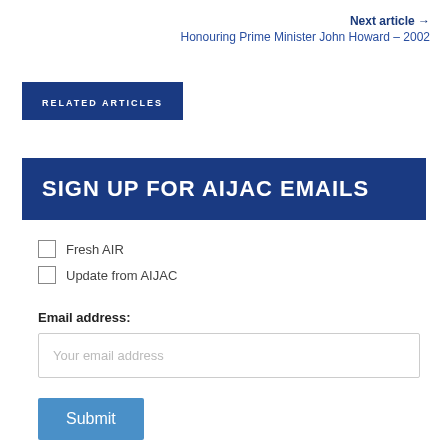Next article → Honouring Prime Minister John Howard – 2002
RELATED ARTICLES
SIGN UP FOR AIJAC EMAILS
Fresh AIR
Update from AIJAC
Email address:
Your email address
Submit